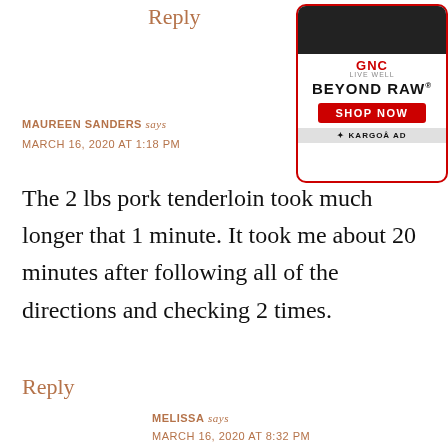Reply
[Figure (advertisement): GNC Beyond Raw supplement advertisement with red border, black product bar, GNC Live Well logo in red, Beyond Raw text in bold black, red Shop Now button, and Kargo ad marker]
MAUREEN SANDERS says
MARCH 16, 2020 AT 1:18 PM
The 2 lbs pork tenderloin took much longer that 1 minute. It took me about 20 minutes after following all of the directions and checking 2 times.
Reply
MELISSA says
MARCH 16, 2020 AT 8:32 PM